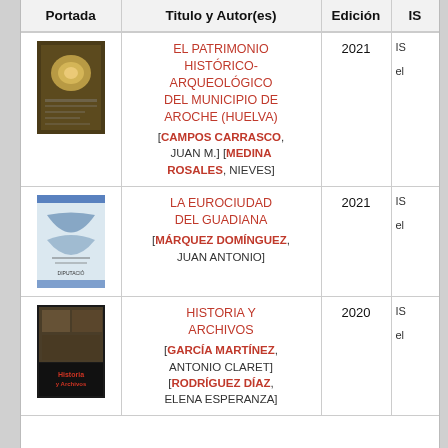| Portada | Titulo y Autor(es) | Edición | IS |
| --- | --- | --- | --- |
| [book cover image] | EL PATRIMONIO HISTÓRICO-ARQUEOLÓGICO DEL MUNICIPIO DE AROCHE (HUELVA) [CAMPOS CARRASCO, JUAN M.] [MEDINA ROSALES, NIEVES] | 2021 | IS... |
| [book cover image] | LA EUROCIUDAD DEL GUADIANA [MÁRQUEZ DOMÍNGUEZ, JUAN ANTONIO] | 2021 | IS... |
| [book cover image] | HISTORIA Y ARCHIVOS [GARCÍA MARTÍNEZ, ANTONIO CLARET] [RODRÍGUEZ DÍAZ, ELENA ESPERANZA] | 2020 | IS... |